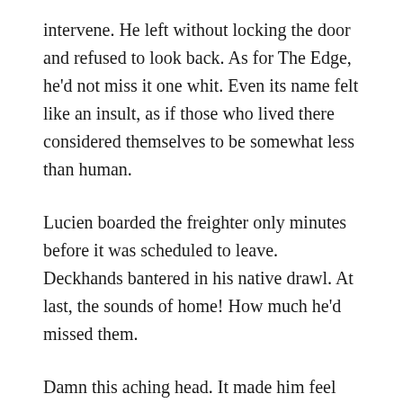intervene. He left without locking the door and refused to look back. As for The Edge, he'd not miss it one whit. Even its name felt like an insult, as if those who lived there considered themselves to be somewhat less than human.
Lucien boarded the freighter only minutes before it was scheduled to leave. Deckhands bantered in his native drawl. At last, the sounds of home! How much he'd missed them.
Damn this aching head. It made him feel wrong. It made everything wrong, which of course it always had been. He closed his eyes, gripped the gunwales and inhaled the thick, salty air. In a matter of weeks, he'd see his parents again. His three younger sisters would pester him to take